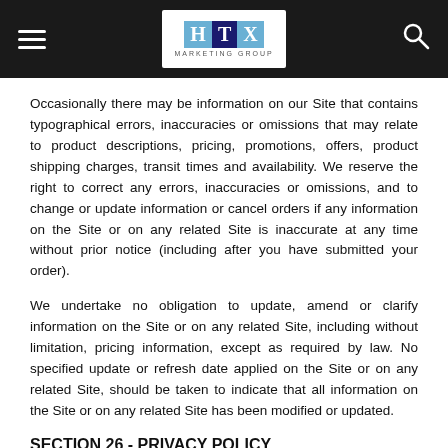[Figure (logo): HTX Marketing Group logo with blue and navy letter blocks on white background, set in a dark navigation bar with hamburger menu and search icon]
Occasionally there may be information on our Site that contains typographical errors, inaccuracies or omissions that may relate to product descriptions, pricing, promotions, offers, product shipping charges, transit times and availability. We reserve the right to correct any errors, inaccuracies or omissions, and to change or update information or cancel orders if any information on the Site or on any related Site is inaccurate at any time without prior notice (including after you have submitted your order).
We undertake no obligation to update, amend or clarify information on the Site or on any related Site, including without limitation, pricing information, except as required by law. No specified update or refresh date applied on the Site or on any related Site, should be taken to indicate that all information on the Site or on any related Site has been modified or updated.
SECTION 26 - PRIVACY POLICY